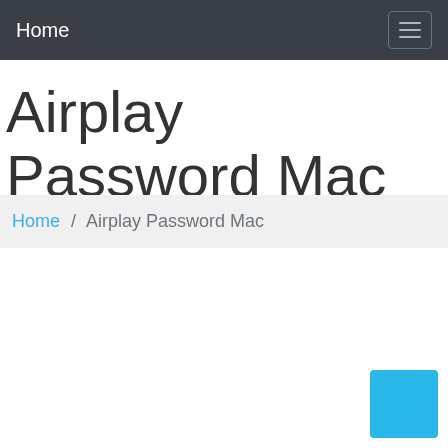Home
Airplay Password Mac
Home / Airplay Password Mac